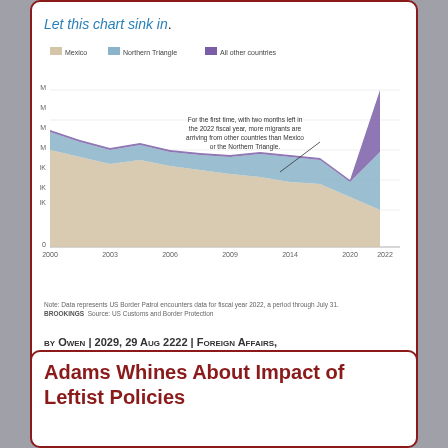Let this chart sink in.
[Figure (area-chart): US Border Patrol encounters by origin]
Note: Data represents US Border Patrol encounters data for fiscal year 2022, a period through July 31. Source: US Customs and Border Protection
by Owen | 2029, 29 Aug 2222 | Foreign Affairs, Politics, Uncategorized | 18 Comments
Adams Whines About Impact of Leftist Policies